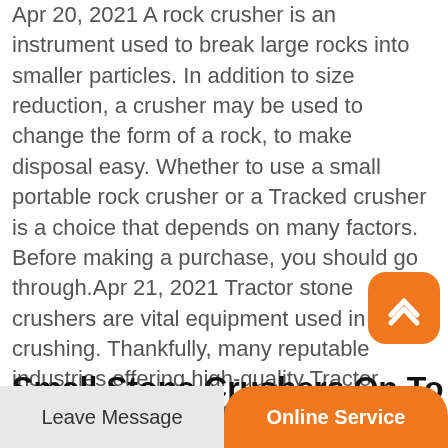Apr 20, 2021 A rock crusher is an instrument used to break large rocks into smaller particles. In addition to size reduction, a crusher may be used to change the form of a rock, to make disposal easy. Whether to use a small portable rock crusher or a Tracked crusher is a choice that depends on many factors. Before making a purchase, you should go through.Apr 21, 2021 Tractor stone crushers are vital equipment used in rock crushing. Thankfully, many reputable industries offering high-quality Tractor stone crushers for sale thereby making life easy for many contractors These tractors are highly mechanized and used for crushing stones into small bits.
Small Stone Crushers On To Tractor
[Figure (other): Orange rounded square scroll-to-top button with upward chevron arrow icon]